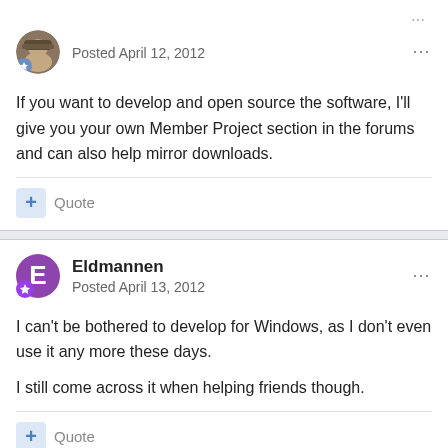Posted April 12, 2012
If you want to develop and open source the software, I'll give you your own Member Project section in the forums and can also help mirror downloads.
Quote
Eldmannen
Posted April 13, 2012
I can't be bothered to develop for Windows, as I don't even use it any more these days.
I still come across it when helping friends though.
Quote